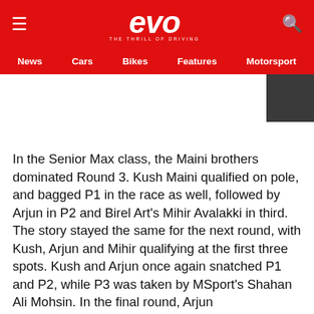evo — THE THRILL OF DRIVING
News | Cars | Bikes | Features | Motorsport
[Figure (other): Dark grey thumbnail image in top-right corner of the ad/image area]
In the Senior Max class, the Maini brothers dominated Round 3. Kush Maini qualified on pole, and bagged P1 in the race as well, followed by Arjun in P2 and Birel Art's Mihir Avalakki in third. The story stayed the same for the next round, with Kush, Arjun and Mihir qualifying at the first three spots. Kush and Arjun once again snatched P1 and P2, while P3 was taken by MSport's Shahan Ali Mohsin. In the final round, Arjun